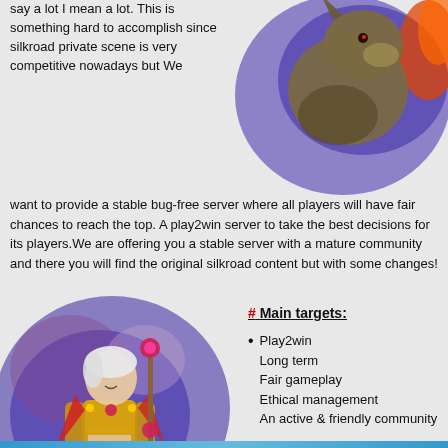say a lot I mean a lot. This is something hard to accomplish since silkroad private scene is very competitive nowadays but We want to provide a stable bug-free server where all players will have fair chances to reach the top. A play2win server to take the best decisions for its players.We are offering you a stable server with a mature community and there you will find the original silkroad content but with some changes!
[Figure (illustration): Fantasy creature/beast illustration with blue and orange splash background, top right of page]
[Figure (illustration): Fantasy female warrior character in golden armor with staff, circular blue splash background, bottom left of page]
# Main targets:
Play2win
Long term
Fair gameplay
Ethical management
An active & friendly community